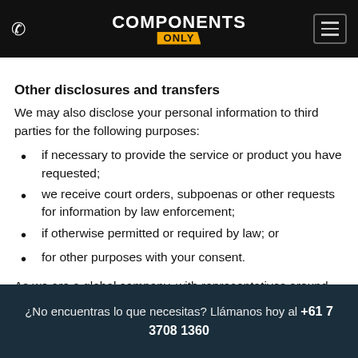COMPONENTS ONLY
Other disclosures and transfers
We may also disclose your personal information to third parties for the following purposes:
if necessary to provide the service or product you have requested;
we receive court orders, subpoenas or other requests for information by law enforcement;
if otherwise permitted or required by law; or
for other purposes with your consent.
As we are a global company, with representatives around the
¿No encuentras lo que necesitas? Llámanos hoy al +61 7 3708 1360